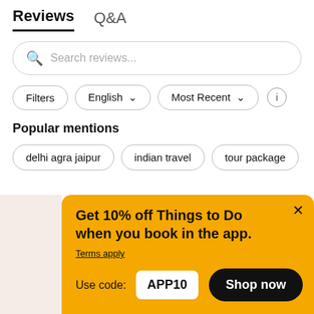Reviews   Q&A
Search reviews...
Filters   English ▾   Most Recent ▾   ⓘ
Popular mentions
delhi agra jaipur
indian travel
tour package
Get 10% off Things to Do when you book in the app.
Terms apply
Use code: APP10
Shop now